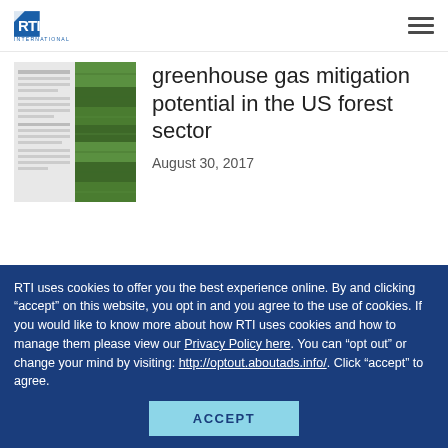RTI International
greenhouse gas mitigation potential in the US forest sector
August 30, 2017
[Figure (photo): Book cover thumbnail with two panels: a document page and an aerial view of agricultural fields]
BOOK
Reproducibility
August 29, 2017
[Figure (illustration): Book cover for Reproducibility: A Primer on Semantics and Implications for Research, dark blue/purple background with a target/bullseye graphic]
RTI uses cookies to offer you the best experience online. By and clicking “accept” on this website, you opt in and you agree to the use of cookies. If you would like to know more about how RTI uses cookies and how to manage them please view our Privacy Policy here. You can “opt out” or change your mind by visiting: http://optout.aboutads.info/. Click “accept” to agree.
ACCEPT